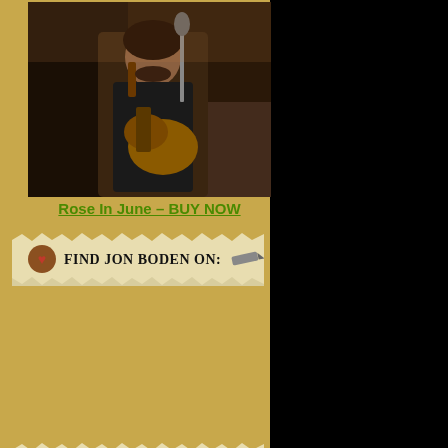[Figure (photo): Man playing guitar on stage, dark background, microphone visible]
Rose In June – BUY NOW
Find Jon Boden on:
AFSAD Albums
[Figure (photo): Dark photo of person, partially visible]
and is interesting by Alan Moore off simple addition of rocks before, whic
You can buy the
Share / Sav
This entry was pos responses to this en
15 Responses t
Neil says:
January 23, 2011 at 1
Bit of a maritime the
Excellent stuff here,